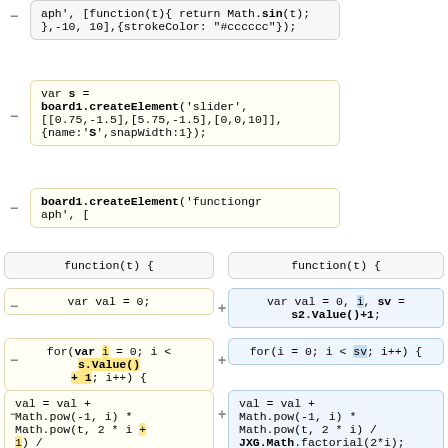aph', [function(t){ return Math.sin(t); },-10, 10],{strokeColor: "#cccccc"});
var s = board1.createElement('slider', [[0.75,-1.5],[5.75,-1.5],[0,0,10]], {name:'S',snapWidth:1});
board1.createElement('functiongraph', [
function(t) {
function(t) {
var val = 0;
var val = 0, i, sv = s2.Value()+1;
for(var i = 0; i < s.Value() + 1; i++) {
for(i = 0; i < sv; i++) {
val = val + Math.pow(-1, i) * Math.pow(t, 2 * i + 1) / board1.factorial(2*i+1);
val = val + Math.pow(-1, i) * Math.pow(t, 2 * i) / JXG.Math.factorial(2*i);
}
}
return val;
return val;